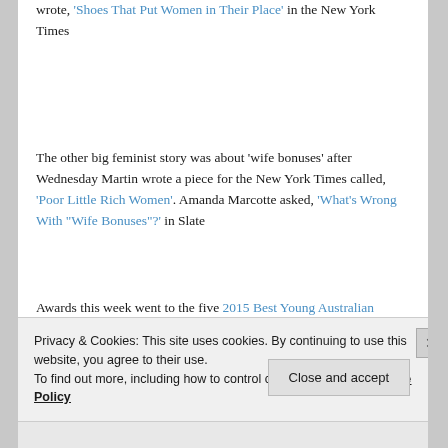wrote, 'Shoes That Put Women in Their Place' in the New York Times
The other big feminist story was about 'wife bonuses' after Wednesday Martin wrote a piece for the New York Times called, 'Poor Little Rich Women'. Amanda Marcotte asked, 'What's Wrong With "Wife Bonuses"?' in Slate
Awards this week went to the five 2015 Best Young Australian Novelists, three of whom are women, all of
Privacy & Cookies: This site uses cookies. By continuing to use this website, you agree to their use.
To find out more, including how to control cookies, see here: Cookie Policy
Close and accept